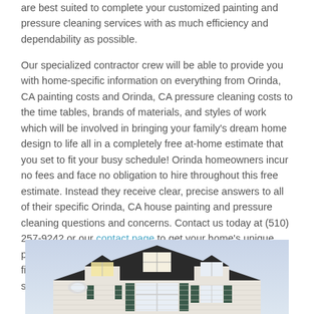are best suited to complete your customized painting and pressure cleaning services with as much efficiency and dependability as possible.
Our specialized contractor crew will be able to provide you with home-specific information on everything from Orinda, CA painting costs and Orinda, CA pressure cleaning costs to the time tables, brands of materials, and styles of work which will be involved in bringing your family's dream home design to life all in a completely free at-home estimate that you set to fit your busy schedule! Orinda homeowners incur no fees and face no obligation to hire throughout this free estimate. Instead they receive clear, precise answers to all of their specific Orinda, CA house painting and pressure cleaning questions and concerns. Contact us today at (510) 257-9242 or our contact page to get your home's unique painting and pressure cleaning services tended to by the finest crew of professionals in both Orinda, CA and all the surrounding cities!
[Figure (photo): Photo of a white house exterior with dark shutters, multiple roof peaks, and a light blue sky background.]